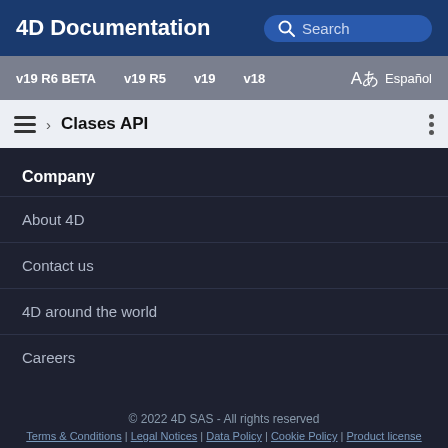4D Documentation
v19 R6 BETA   v19 R5   v19   v18   Español
› Clases API
Company
About 4D
Contact us
4D around the world
Careers
© 2022 4D SAS - All rights reserved
Terms & Conditions | Legal Notices | Data Policy | Cookie Policy | Product license